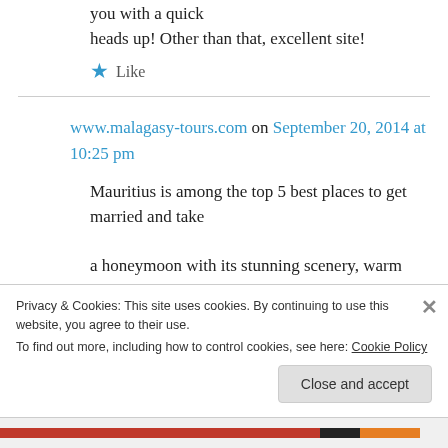you with a quick heads up! Other than that, excellent site!
★ Like
www.malagasy-tours.com on September 20, 2014 at 10:25 pm
Mauritius is among the top 5 best places to get married and take a honeymoon with its stunning scenery, warm tropical climate and natural
Privacy & Cookies: This site uses cookies. By continuing to use this website, you agree to their use.
To find out more, including how to control cookies, see here: Cookie Policy